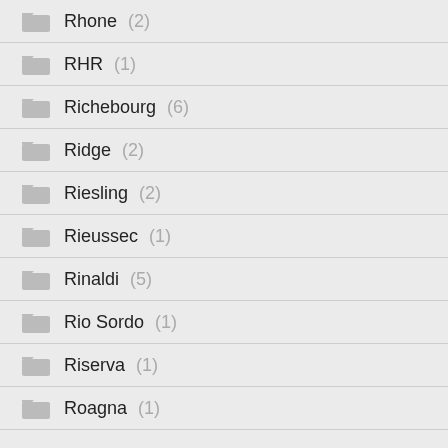Rhone (2)
RHR (1)
Richebourg (6)
Ridge (2)
Riesling (2)
Rieussec (1)
Rinaldi (5)
Rio Sordo (1)
Riserva (1)
Roagna (1)